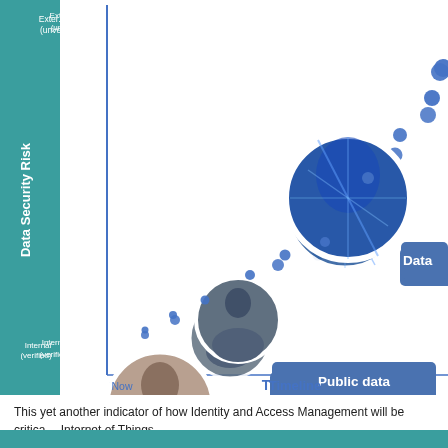[Figure (continuous-plot): Scatter/bubble chart showing Data Security Risk (y-axis, from Internal/verified at bottom to External/unverified at top) vs Timeline (x-axis, from Now onward). Bubbles and dots increase in size and height along a diagonal trend line. Labels show 'Enterprise data' (medium bubble, lower-left), 'Public data' (larger bubble, mid-right), and 'Data' (cut off, upper-right). Two photo-filled circles appear at medium-left and mid-right positions.]
This yet another indicator of how Identity and Access Management will be critical… Internet of Things.
Comments Off · Permalink · Trackback URL
WordPress Tags: Big Data
Both comments and pings are currently closed.